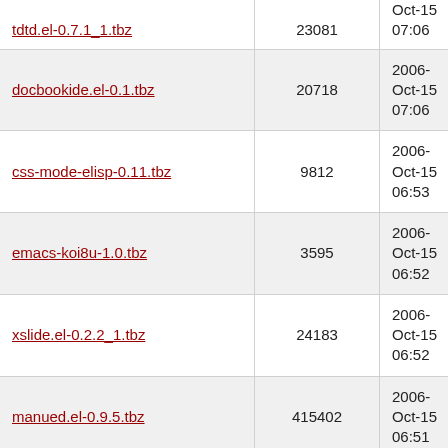| Filename | Size | Date |
| --- | --- | --- |
| tdtd.el-0.7.1_1.tbz | 23081 | 2006-Oct-15 07:06 |
| docbookide.el-0.1.tbz | 20718 | 2006-Oct-15 07:06 |
| css-mode-elisp-0.11.tbz | 9812 | 2006-Oct-15 06:53 |
| emacs-koi8u-1.0.tbz | 3595 | 2006-Oct-15 06:52 |
| xslide.el-0.2.2_1.tbz | 24183 | 2006-Oct-15 06:52 |
| manued.el-0.9.5.tbz | 415402 | 2006-Oct-15 06:51 |
| diff-mode.el-1.8_1.tbz | 9950 | 2006-Oct-15 06:51 |
| yatex-mule-1.72_1.tbz | 256590 | 2006-Oct-15 06:31 |